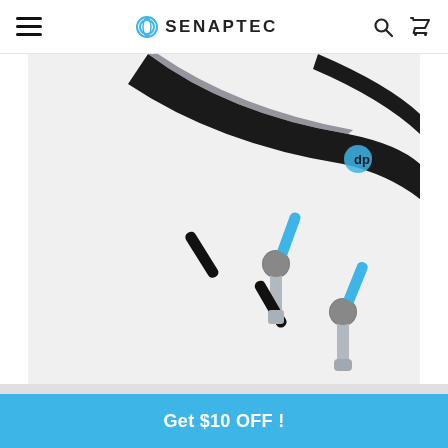SENAPTEC
[Figure (photo): Close-up product photo of Senaptec sensory training device with black straps and blue/gray adjustable stroboscopic eyewear components, plus two Y-shaped handle attachments with blue and silver/chrome grips against a light gray background.]
Get $10 OFF !